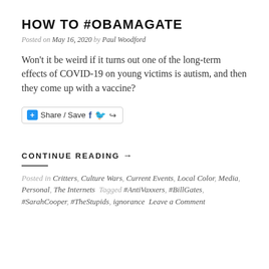HOW TO #OBAMAGATE
Posted on May 16, 2020 by Paul Woodford
Won't it be weird if it turns out one of the long-term effects of COVID-19 on young victims is autism, and then they come up with a vaccine?
[Figure (other): Share / Save button bar with Facebook and Twitter icons]
CONTINUE READING →
Posted in Critters, Culture Wars, Current Events, Local Color, Media, Personal, The Internets  Tagged #AntiVaxxers, #BillGates, #SarahCooper, #TheStupids, ignorance  Leave a Comment